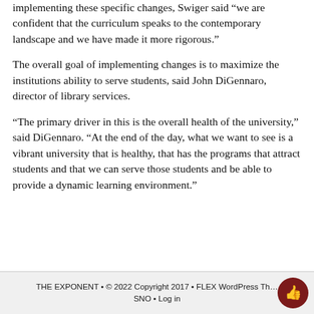implementing these specific changes, Swiger said “we are confident that the curriculum speaks to the contemporary landscape and we have made it more rigorous.”
The overall goal of implementing changes is to maximize the institutions ability to serve students, said John DiGennaro, director of library services.
“The primary driver in this is the overall health of the university,” said DiGennaro. “At the end of the day, what we want to see is a vibrant university that is healthy, that has the programs that attract students and that we can serve those students and be able to provide a dynamic learning environment.”
THE EXPONENT • © 2022 Copyright 2017 • FLEX WordPress Th… SNO • Log in